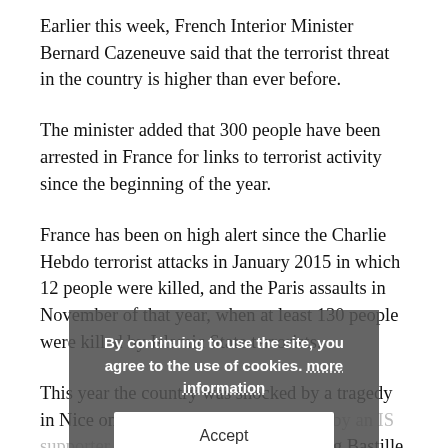encouraged them to stage terrorist attacks.
Earlier this week, French Interior Minister Bernard Cazeneuve said that the terrorist threat in the country is higher than ever before.
The minister added that 300 people have been arrested in France for links to terrorist activity since the beginning of the year.
France has been on high alert since the Charlie Hebdo terrorist attacks in January 2015 in which 12 people were killed, and the Paris assaults in November of that year, when at least 130 people were killed by Islamic State terrorists.
This year the country was shocked by a tragedy in Nice on July 14 when a truck driven by an IS supporter plowed through crowds during Bastille Day celebrations, killing 84 people.
Also in July, two Islamic radicals murdered Father Jacques Hamel in northern Saint-Etienne-du-Rouvray by cutting the 85-
By continuing to use the site, you agree to the use of cookies. more information
Accept